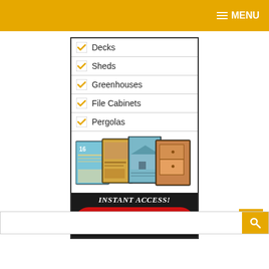MENU
[Figure (infographic): Advertisement widget showing a checklist of woodworking plan categories (Decks, Sheds, Greenhouses, File Cabinets, Pergolas) with orange checkmarks, images of plan booklets, 'INSTANT ACCESS!' text, and a red Download button with 'CLICK HERE' text.]
SEARCH